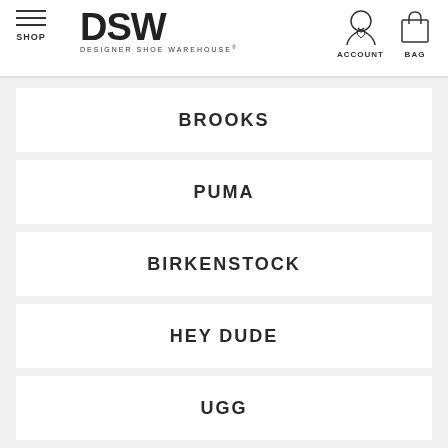DSW DESIGNER SHOE WAREHOUSE - SHOP | ACCOUNT | BAG
BROOKS
PUMA
BIRKENSTOCK
HEY DUDE
UGG